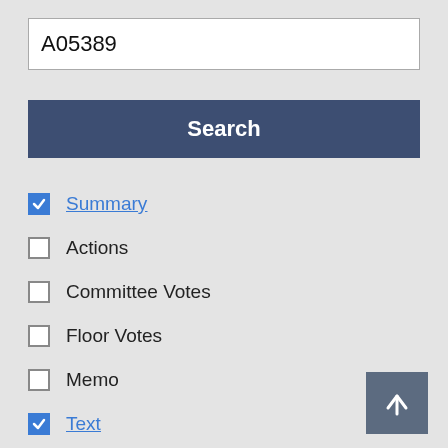A05389
Search
Summary (checked)
Actions (unchecked)
Committee Votes (unchecked)
Floor Votes (unchecked)
Memo (unchecked)
Text (checked)